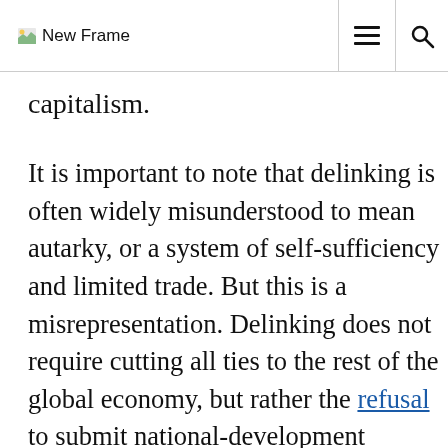New Frame
capitalism.
It is important to note that delinking is often widely misunderstood to mean autarky, or a system of self-sufficiency and limited trade. But this is a misrepresentation. Delinking does not require cutting all ties to the rest of the global economy, but rather the refusal to submit national-development strategies to the imperatives of globalisation. It aims to compel a political economy suited to its needs, rather than simply going along with having to unilaterally adjust to the needs of the global